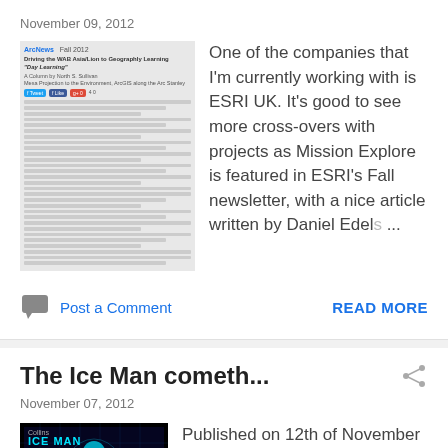November 09, 2012
[Figure (screenshot): Thumbnail of ArcNews Fall 2012 newsletter page]
One of the companies that I'm currently working with is ESRI UK. It's good to see more cross-overs with projects as Mission Explore is featured in ESRI's Fall newsletter, with a nice article written by Daniel Edel...
Post a Comment
READ MORE
The Ice Man cometh...
November 07, 2012
[Figure (photo): Book cover of 'The Ice Man' by Alan Armstrong]
Published on 12th of November Available to buy on Amazon... 'The Ice Man is a great cross-curricular text for science, geography and history. The book is an excellent length